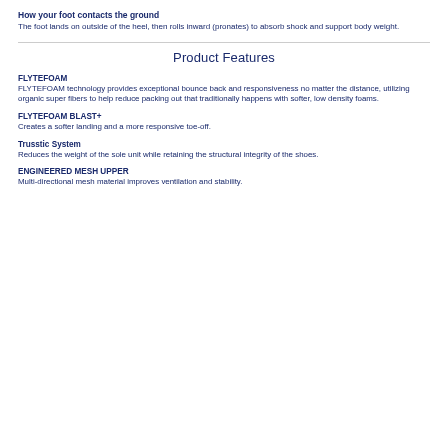How your foot contacts the ground
The foot lands on outside of the heel, then rolls inward (pronates) to absorb shock and support body weight.
Product Features
FLYTEFOAM
FLYTEFOAM technology provides exceptional bounce back and responsiveness no matter the distance, utilizing organic super fibers to help reduce packing out that traditionally happens with softer, low density foams.
FLYTEFOAM BLAST+
Creates a softer landing and a more responsive toe-off.
Trusstic System
Reduces the weight of the sole unit while retaining the structural integrity of the shoes.
ENGINEERED MESH UPPER
Multi-directional mesh material improves ventilation and stability.